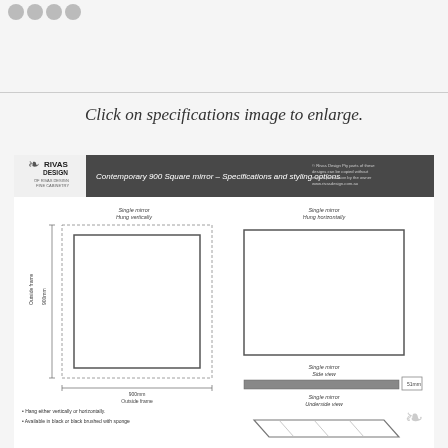[Figure (other): Social media icon circles (Facebook, Twitter, email, share) in the top-left corner]
Click on specifications image to enlarge.
[Figure (engineering-diagram): Rivas Design Contemporary 900 Square mirror – Specifications and styling options. Shows: Single mirror Hung vertically (front view, 900mm x 900mm outside frame), Single mirror Hung horizontally (front view), Single mirror Side view (thin bar showing 51mm), Single mirror Underside view (angled diagram). Notes: Hang either vertically or horizontally; Available in black or black brushed with sponge.]